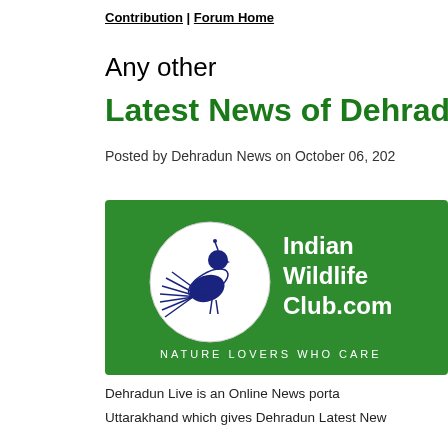Contribution | Forum Home
Any other
Latest News of Dehrad
Posted by Dehradun News on October 06, 202
[Figure (logo): Indian Wildlife Club.com logo on green background with a peacock/bird illustration in a circle. Text reads: Indian Wildlife Club.com — NATURE LOVERS WHO CARE]
Dehradun Live is an Online News porta
Uttarakhand which gives Dehradun Latest New